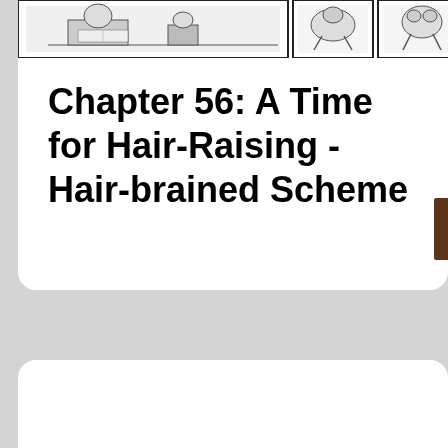[Figure (illustration): A black and white comic strip panel showing multiple illustrated scenes in a row at the top of the card.]
Chapter 56: A Time for Hair-Raising - Hair-brained Scheme